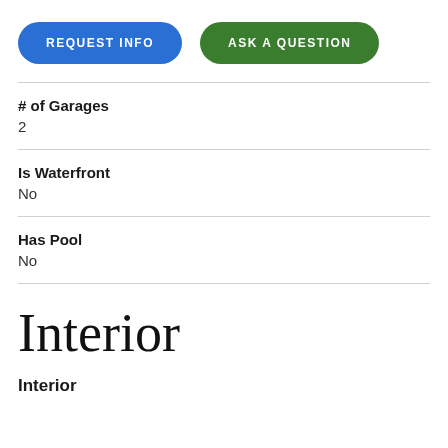[Figure (other): Two pill-shaped buttons: 'REQUEST INFO' in blue and 'ASK A QUESTION' in green]
# of Garages
2
Is Waterfront
No
Has Pool
No
Interior
Interior